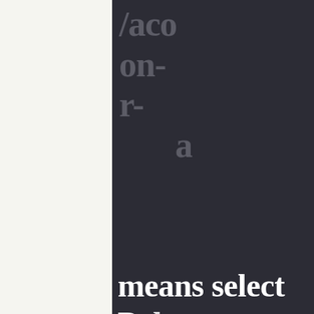/aco... on- r- a means select Pokemon Black or Pokemon Platinum ROMs if really want to download the best online games, then simply make sure you find those that will